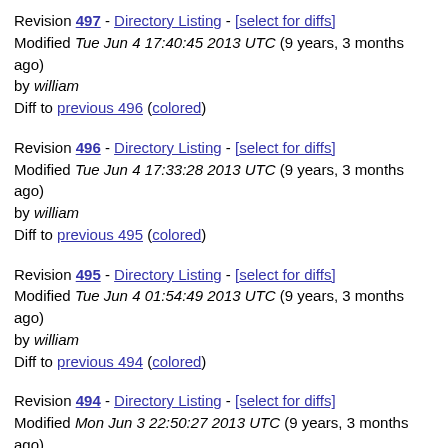Revision 497 - Directory Listing - [select for diffs]
Modified Tue Jun 4 17:40:45 2013 UTC (9 years, 3 months ago)
by william
Diff to previous 496 (colored)
Revision 496 - Directory Listing - [select for diffs]
Modified Tue Jun 4 17:33:28 2013 UTC (9 years, 3 months ago)
by william
Diff to previous 495 (colored)
Revision 495 - Directory Listing - [select for diffs]
Modified Tue Jun 4 01:54:49 2013 UTC (9 years, 3 months ago)
by william
Diff to previous 494 (colored)
Revision 494 - Directory Listing - [select for diffs]
Modified Mon Jun 3 22:50:27 2013 UTC (9 years, 3 months ago)
by william
Diff to previous 493 (colored)